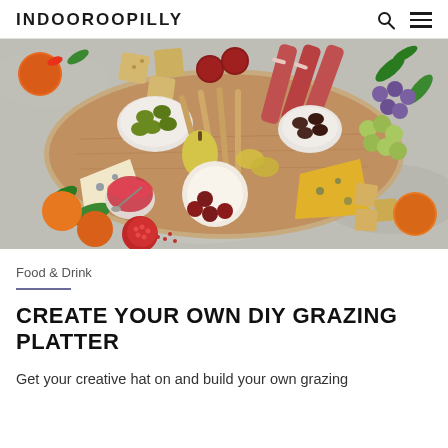INDOOROOPILLY
[Figure (photo): A grazing platter/charcuterie board photographed from above, showing cheeses, cured meats, olives, grapes, crackers, fruits (orange, pomegranate), jam, breadsticks, and green leaves arranged on a wooden board on a stone surface.]
Food & Drink
CREATE YOUR OWN DIY GRAZING PLATTER
Get your creative hat on and build your own grazing